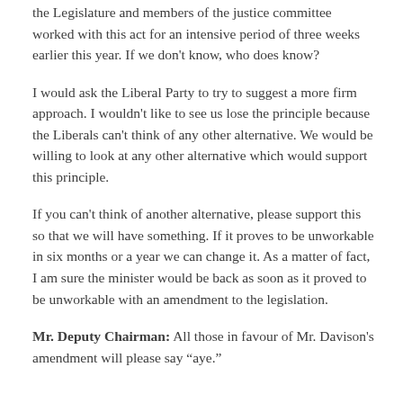the Legislature and members of the justice committee worked with this act for an intensive period of three weeks earlier this year. If we don't know, who does know?
I would ask the Liberal Party to try to suggest a more firm approach. I wouldn't like to see us lose the principle because the Liberals can't think of any other alternative. We would be willing to look at any other alternative which would support this principle.
If you can't think of another alternative, please support this so that we will have something. If it proves to be unworkable in six months or a year we can change it. As a matter of fact, I am sure the minister would be back as soon as it proved to be unworkable with an amendment to the legislation.
Mr. Deputy Chairman: All those in favour of Mr. Davison's amendment will please say “aye.”